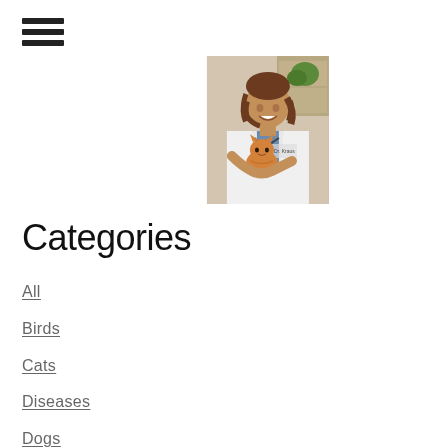[Figure (other): Hamburger menu icon with three horizontal bars]
[Figure (photo): A woman in a white lab coat smiling and holding a small orange kitten, likely a veterinarian named Dr. Krause or similar, standing in what appears to be a veterinary clinic]
Categories
All
Birds
Cats
Diseases
Dogs
Fleas And Ticks
Food And Nutrition
Pet Care